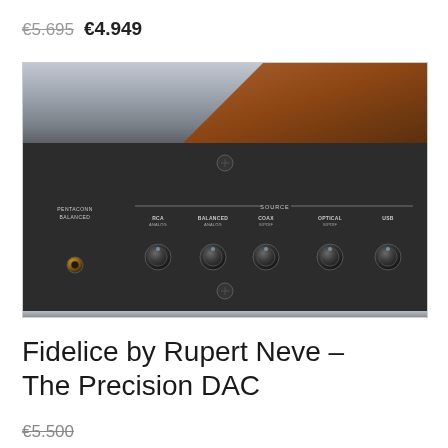€5.695  €4.949
[Figure (photo): Photo of the front panel of a high-end audio DAC/amplifier showing control knobs labeled PENTACONN BALANCED on the left, and SOURCE inputs: RCA ANALOG, BALANCED ANALOG, COAX S/PDIF, OPTICAL S/PDIF, USB. The unit has a dark grey faceplate with a silver top section and wood accent on the top right.]
Fidelice by Rupert Neve – The Precision DAC
€5.500